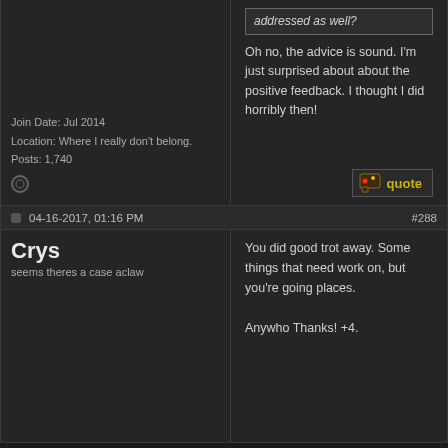addressed as well?
Oh no, the advice is sound. I'm just surprised about about the positive feedback. I thought I did horribly then!
Join Date: Jul 2014
Location: Where I really don't belong.
Posts: 1,740
04-16-2017, 01:16 PM
#288
Crys
seems theres a case aclaw
You did good trot away. Some things that need work on, but you're going places.

Anywho Thanks! +4.